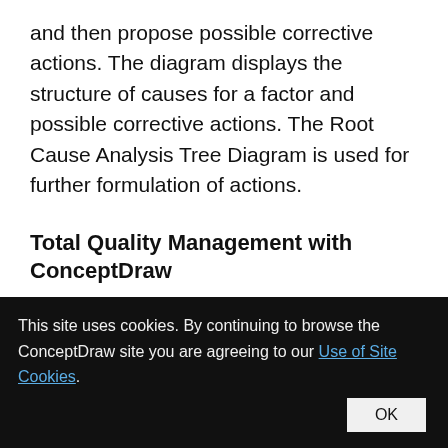and then propose possible corrective actions. The diagram displays the structure of causes for a factor and possible corrective actions. The Root Cause Analysis Tree Diagram is used for further formulation of actions.
Total Quality Management with ConceptDraw
[Figure (screenshot): Partial screenshot of a ConceptDraw diagram tool interface showing a grid/canvas area with white content boxes.]
This site uses cookies. By continuing to browse the ConceptDraw site you are agreeing to our Use of Site Cookies.